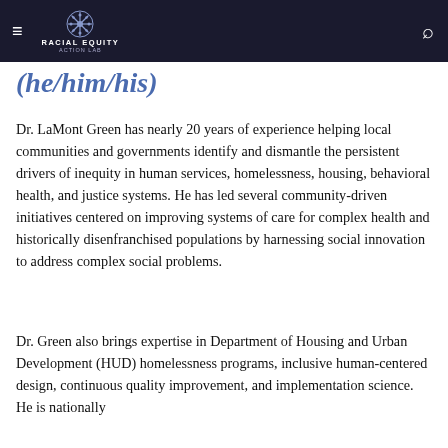≡ RACIAL EQUITY ACTION LAB 🔍
(he/him/his)
Dr. LaMont Green has nearly 20 years of experience helping local communities and governments identify and dismantle the persistent drivers of inequity in human services, homelessness, housing, behavioral health, and justice systems. He has led several community-driven initiatives centered on improving systems of care for complex health and historically disenfranchised populations by harnessing social innovation to address complex social problems.
Dr. Green also brings expertise in Department of Housing and Urban Development (HUD) homelessness programs, inclusive human-centered design, continuous quality improvement, and implementation science. He is nationally